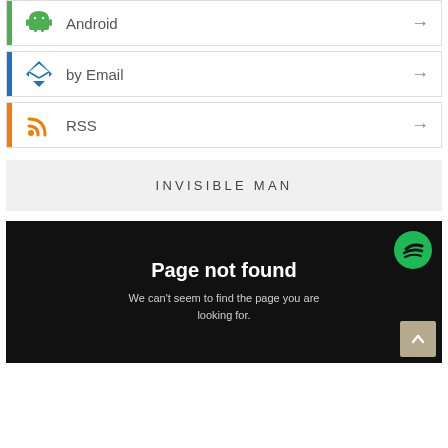Android
by Email
RSS
INVISIBLE MAN
[Figure (screenshot): Spotify 'Page not found' error screen on dark background with Spotify logo and text: Page not found. We can't seem to find the page you are looking for.]